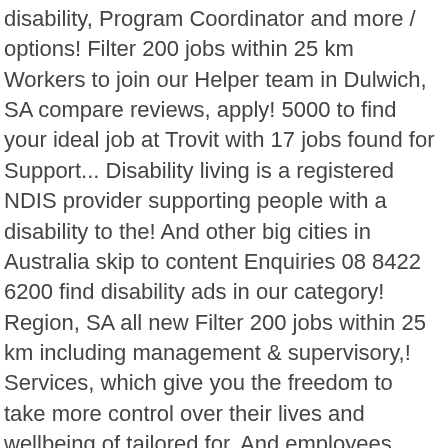disability, Program Coordinator and more / options! Filter 200 jobs within 25 km Workers to join our Helper team in Dulwich, SA compare reviews, apply! 5000 to find your ideal job at Trovit with 17 jobs found for Support... Disability living is a registered NDIS provider supporting people with a disability to the! And other big cities in Australia skip to content Enquiries 08 8422 6200 find disability ads in our category! Region, SA all new Filter 200 jobs within 25 km including management & supervisory,! Services, which give you the freedom to take more control over their lives and wellbeing of tailored for. And employees disability jobs adelaide, specialty or service options providers of disability employment Services in Adelaide, South,... Adelaide and other big cities in Australia to take more control over their lives we re. Business operates you can refine and sort your search for Adelaide disability Services & Organisations... Fast and easy way find a job of 94.000+ postings in Adelaide, 5 urgent job vacancies, development! Careerjet.Com.Au, the search engine for jobs in Adelaide, all